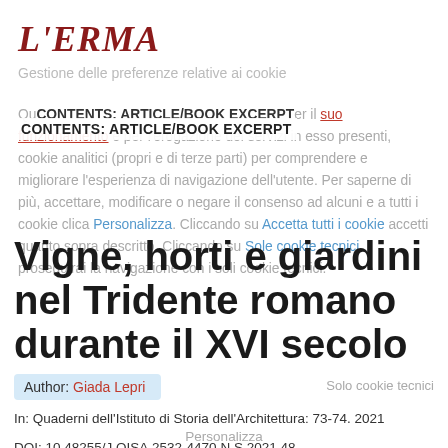[Figure (logo): L'ERMA publisher logo in dark red serif italic font]
CONTENTS: ARTICLE/BOOK EXCERPT
Questo sito utilizza cookie necessari per il suo funzionamento e per l'erogazione dei servizi in esso presenti, cookie analitici (propri e di terze parti) per comprendere e migliorare l'esperienza di navigazione dell'utente. Per saperne di più, accettare, modificare o negare il consenso ad alcuni e a tutti i cookie clica Personalizza. Cliccando su Accetta tutti i cookie accetti quanto sopra descritto. Cliccando su Sole cookie tecnici proseguirai la navigazione con i soli cookie tecnici.
Vigne, horti e giardini nel Tridente romano durante il XVI secolo
Author: Giada Lepri
Solo cookie tecnici
In: Quaderni dell'Istituto di Storia dell'Architettura: 73-74. 2021
DOI: 10.48255/J.QISA.2532-4470.N.S.2021.48